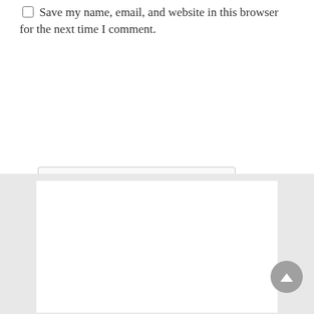Save my name, email, and website in this browser for the next time I comment.
[Figure (other): reCAPTCHA widget with checkbox labeled 'I'm not a robot' and Google reCAPTCHA logo with Privacy and Terms links]
Post Comment
[Figure (other): Advertisement placeholder with light yellow background]